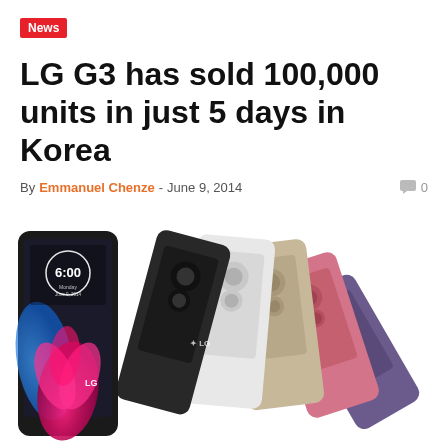News
LG G3 has sold 100,000 units in just 5 days in Korea
By Emmanuel Chenze - June 9, 2014   0
[Figure (photo): Multiple LG G3 smartphones fanned out showing backs in black, white, gold, pink, and purple colors, with one phone facing front showing the screen displaying 6:00 and a colorful abstract wallpaper.]